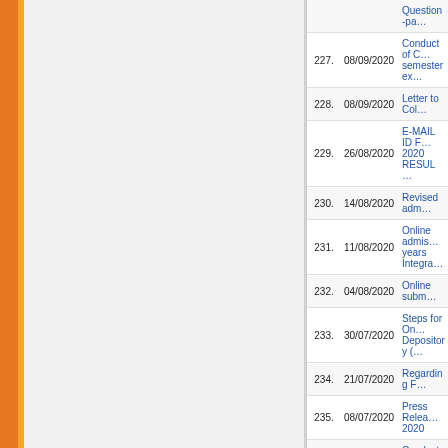| No. | Date | Title |
| --- | --- | --- |
|  |  | Question-pa… |
| 227. | 08/09/2020 | Conduct of C… semester ex… |
| 228. | 08/09/2020 | Letter to Col… |
| 229. | 26/08/2020 | E-MAIL ID F… 2020 RESUL… |
| 230. | 14/08/2020 | Revised adm… |
| 231. | 11/08/2020 | Online admis… years Integra… |
| 232. | 04/08/2020 | Online subm… |
| 233. | 30/07/2020 | Steps for On… Depository (… |
| 234. | 21/07/2020 | Regarding F… |
| 235. | 08/07/2020 | Press Relea… 2020 |
| 236. | 10/06/2020 | Conduct of V… SkypeOnline… |
| 237. | 08/06/2020 | NEW GUIDE… QUESTION … JULY 2020 |
| 238. | 08/06/2020 | SOP's FOR… |